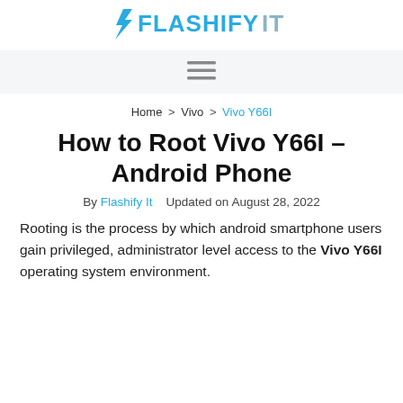Flashify It
Home > Vivo > Vivo Y66I
How to Root Vivo Y66I – Android Phone
By Flashify It   Updated on August 28, 2022
Rooting is the process by which android smartphone users gain privileged, administrator level access to the Vivo Y66I operating system environment.